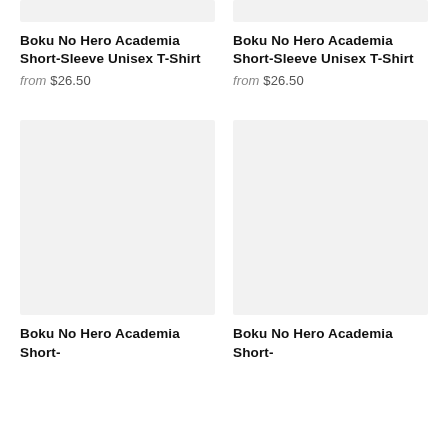[Figure (photo): Partial product image placeholder (gray) for first product, top row, left]
[Figure (photo): Partial product image placeholder (gray) for second product, top row, right]
Boku No Hero Academia Short-Sleeve Unisex T-Shirt
from $26.50
Boku No Hero Academia Short-Sleeve Unisex T-Shirt
from $26.50
[Figure (photo): Product image placeholder (gray) for third product, bottom row, left]
[Figure (photo): Product image placeholder (gray) for fourth product, bottom row, right]
Boku No Hero Academia Short-
Boku No Hero Academia Short-